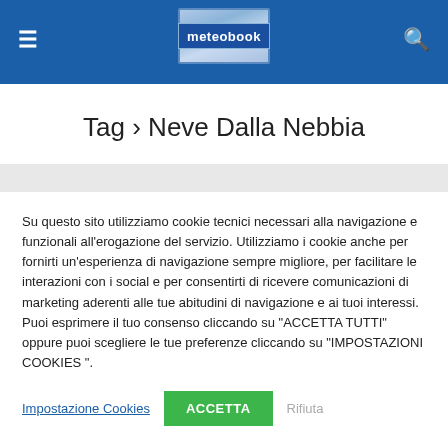meteobook
Tag › Neve Dalla Nebbia
Su questo sito utilizziamo cookie tecnici necessari alla navigazione e funzionali all'erogazione del servizio. Utilizziamo i cookie anche per fornirti un'esperienza di navigazione sempre migliore, per facilitare le interazioni con i social e per consentirti di ricevere comunicazioni di marketing aderenti alle tue abitudini di navigazione e ai tuoi interessi. Puoi esprimere il tuo consenso cliccando su "ACCETTA TUTTI" oppure puoi scegliere le tue preferenze cliccando su "IMPOSTAZIONI COOKIES ".
Impostazione Cookies  ACCETTA  Rifiuta